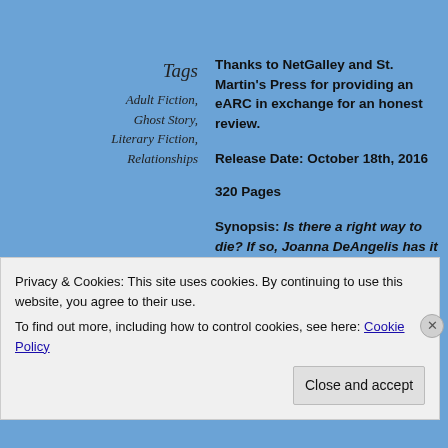Tags
Adult Fiction,
Ghost Story,
Literary Fiction,
Relationships
Thanks to NetGalley and St. Martin's Press for providing an eARC in exchange for an honest review.
Release Date: October 18th, 2016
320 Pages
Synopsis: Is there a right way to die? If so, Joanna DeAngelis has it all wrong. She's consumed by betrayal, spending her numbered days obsessing over Ned McGowan, her much younger ex, and
Privacy & Cookies: This site uses cookies. By continuing to use this website, you agree to their use.
To find out more, including how to control cookies, see here: Cookie Policy
Close and accept